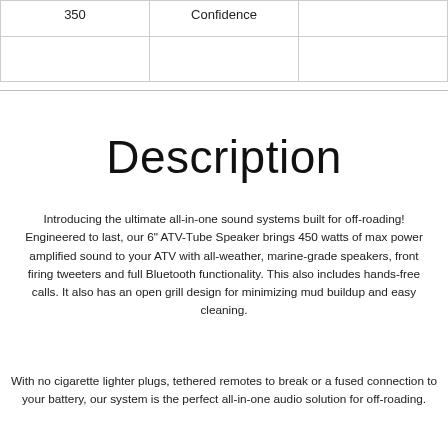| 350 | Confidence |  |
Description
Introducing the ultimate all-in-one sound systems built for off-roading! Engineered to last, our 6" ATV-Tube Speaker brings 450 watts of max power amplified sound to your ATV with all-weather, marine-grade speakers, front firing tweeters and full Bluetooth functionality. This also includes hands-free calls. It also has an open grill design for minimizing mud buildup and easy cleaning.
With no cigarette lighter plugs, tethered remotes to break or a fused connection to your battery, our system is the perfect all-in-one audio solution for off-roading.